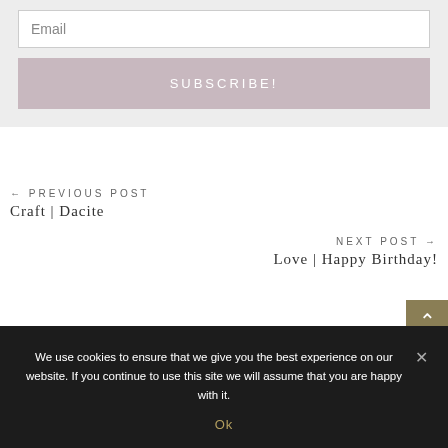Email
SUBSCRIBE!
← PREVIOUS POST
Craft | Dacite
NEXT POST →
Love | Happy Birthday!
We use cookies to ensure that we give you the best experience on our website. If you continue to use this site we will assume that you are happy with it.
Ok